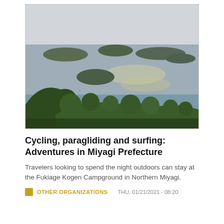[Figure (photo): Aerial view of Matsushima bay in Miyagi Prefecture, Japan, showing numerous pine-covered islands in calm water, shot from a hilltop with trees in the foreground and a misty sky above.]
Cycling, paragliding and surfing: Adventures in Miyagi Prefecture
Travelers looking to spend the night outdoors can stay at the Fukiage Kogen Campground in Northern Miyagi.
OTHER ORGANIZATIONS   THU, 01/21/2021 - 08:20